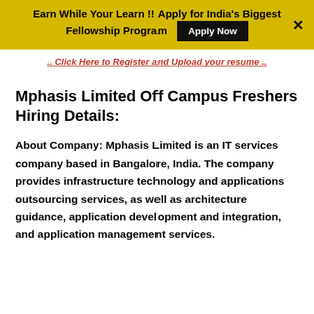Earn While Your Learn !! Apply for India's Biggest Fellowship Program [Apply Now] ×
.. Click Here to Register and Upload your resume ..
Mphasis Limited Off Campus Freshers Hiring Details:
About Company: Mphasis Limited is an IT services company based in Bangalore, India. The company provides infrastructure technology and applications outsourcing services, as well as architecture guidance, application development and integration, and application management services.